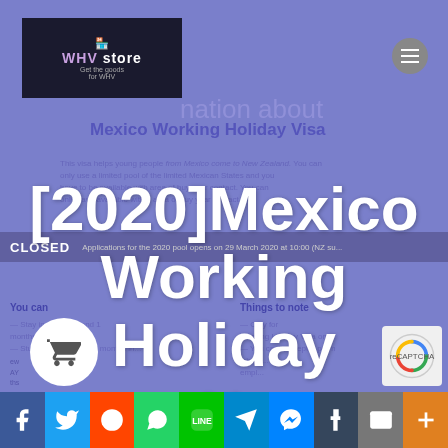[Figure (screenshot): Screenshot of a website page about Mexico Working Holiday Visa for New Zealand, with WHV store logo, navigation, CLOSED status bar, background text content, and a large overlay title reading '[2020]Mexico Working Holiday to New Zealand, What you should do next?'. Social share buttons at bottom (Facebook, Twitter, Reddit, WhatsApp, LINE, Telegram, Messenger, Tumblr, Email, More). Shopping cart button and reCAPTCHA badge visible.]